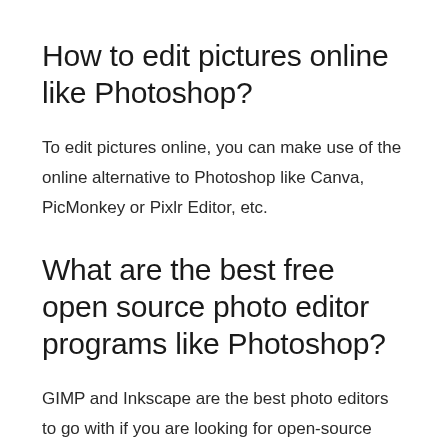How to edit pictures online like Photoshop?
To edit pictures online, you can make use of the online alternative to Photoshop like Canva, PicMonkey or Pixlr Editor, etc.
What are the best free open source photo editor programs like Photoshop?
GIMP and Inkscape are the best photo editors to go with if you are looking for open-source